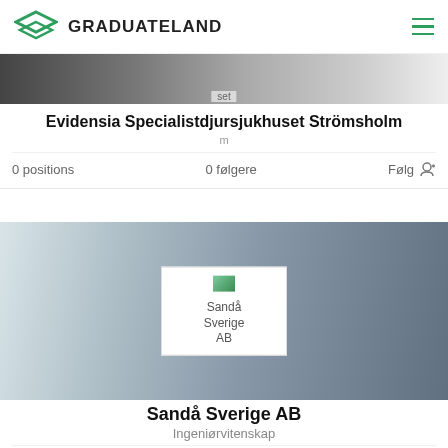GRADUATELAND
[Figure (screenshot): Partially visible image at top of first company card]
Evidensia Specialistdjursjukhuset Strömsholm
0 positions   0 følgere   Følg
[Figure (photo): Office/workspace background photo for Sandå Sverige AB card, with company logo overlay showing broken image icon and text 'Sandå Sverige AB']
Sandå Sverige AB
Ingeniørvitenskap
0 positions   0 følgere   Følg